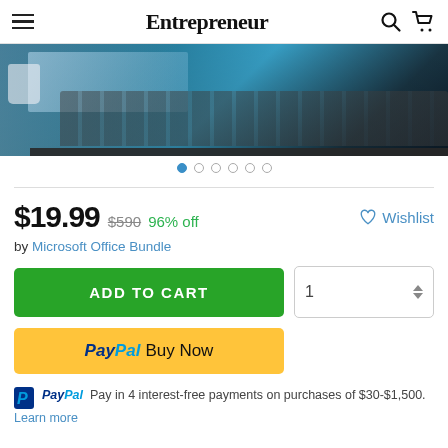Entrepreneur
[Figure (photo): Laptop computer photograph used as product hero image, with carousel navigation dots below]
$19.99  $590  96% off    ♡ Wishlist
by Microsoft Office Bundle
ADD TO CART   1
PayPal Buy Now
PayPal Pay in 4 interest-free payments on purchases of $30-$1,500. Learn more